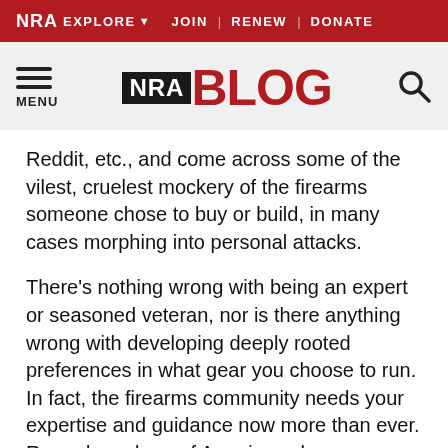NRA EXPLORE ▾  JOIN | RENEW | DONATE
[Figure (logo): NRA Blog logo with hamburger menu and search icon]
Reddit, etc., and come across some of the vilest, cruelest mockery of the firearms someone chose to buy or build, in many cases morphing into personal attacks.
There's nothing wrong with being an expert or seasoned veteran, nor is there anything wrong with developing deeply rooted preferences in what gear you choose to run. In fact, the firearms community needs your expertise and guidance now more than ever. Record numbers of Americans have purchased guns – many for the first time – and getting the right info from the people who know best will help them become